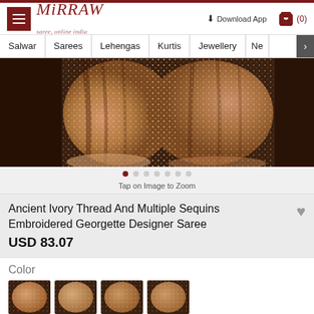Mirraw — saree, online india
Salwar | Sarees | Lehengas | Kurtis | Jewellery | Ne >
[Figure (photo): Product photo of an Ancient Ivory sequined Georgette Saree draped against dark brown background]
Tap on Image to Zoom
Ancient Ivory Thread And Multiple Sequins Embroidered Georgette Designer Saree
USD 83.07
Color
[Figure (photo): Four small thumbnail images showing color variants of the saree]